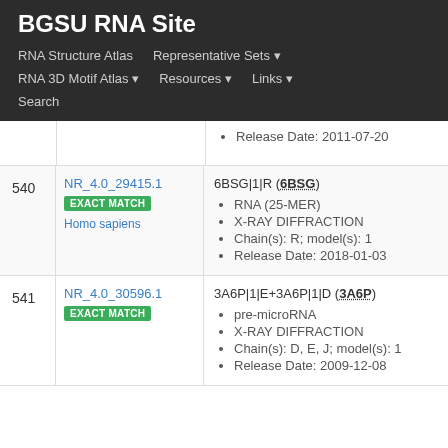BGSU RNA Site
RNA Structure Atlas | Representative Sets ▾ | RNA 3D Motif Atlas ▾ | Resources ▾ | Links ▾ | Search
| # | ID | Info |
| --- | --- | --- |
|  |  | Release Date: 2011-07-20 |
| 540 | NR_4.0_29415.1 EXACT MATCH Homo sapiens | 6BSG|1|R (6BSG)
RNA (25-MER)
X-RAY DIFFRACTION
Chain(s): R; model(s): 1
Release Date: 2018-01-03 |
| 541 | NR_4.0_30596.1 EXACT MATCH | 3A6P|1|E+3A6P|1|D (3A6P)
pre-microRNA
X-RAY DIFFRACTION
Chain(s): D, E, J; model(s): 1
Release Date: 2009-12-08 |